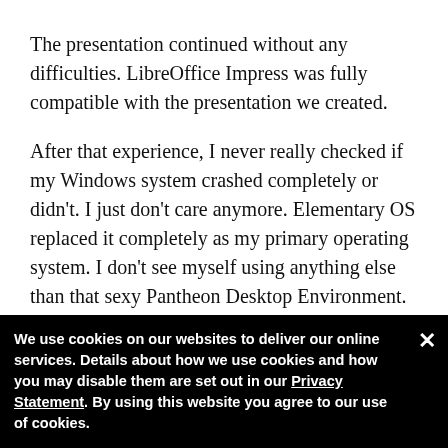The presentation continued without any difficulties. LibreOffice Impress was fully compatible with the presentation we created.
After that experience, I never really checked if my Windows system crashed completely or didn't. I just don't care anymore. Elementary OS replaced it completely as my primary operating system. I don't see myself using anything else than that sexy Pantheon Desktop Environment. After my long and painful transformation, I finally feel completely comfortable when I'm using my laptop. I installed it on every other compatible … how using elementary OS on a daily basis and they… and we're all runn
We use cookies on our websites to deliver our online services. Details about how we use cookies and how you may disable them are set out in our Privacy Statement. By using this website you agree to our use of cookies.